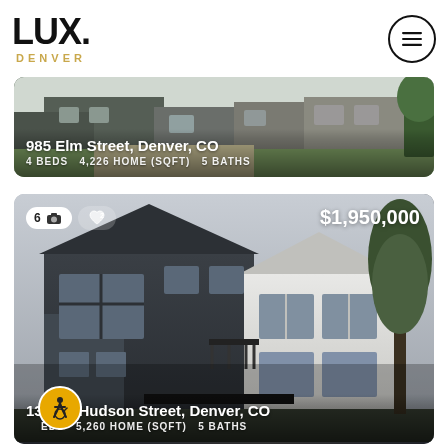[Figure (logo): LUX. DENVER real estate logo in black and gold]
[Figure (photo): House exterior photo for 985 Elm Street, Denver, CO with overlay showing address and property details]
[Figure (photo): Modern two-tone house exterior rendering for 1336 N Hudson Street, Denver, CO priced at $1,950,000 with property details overlay]